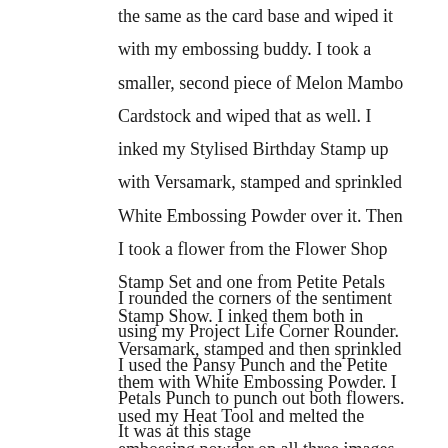the same as the card base and wiped it with my embossing buddy. I took a smaller, second piece of Melon Mambo Cardstock and wiped that as well. I inked my Stylised Birthday Stamp up with Versamark, stamped and sprinkled White Embossing Powder over it. Then I took a flower from the Flower Shop Stamp Set and one from Petite Petals Stamp Show. I inked them both in Versamark, stamped and then sprinkled them with White Embossing Powder. I used my Heat Tool and melted the embossing powder on all three images.
I rounded the corners of the sentiment using my Project Life Corner Rounder. I used the Pansy Punch and the Petite Petals Punch to punch out both flowers. It was at this stage